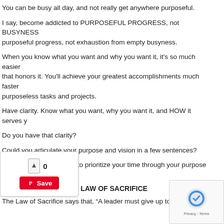You can be busy all day, and not really get anywhere purposeful.
I say, become addicted to PURPOSEFUL PROGRESS, not BUSYNESS purposeful progress, not exhaustion from empty busyness.
When you know what you want and why you want it, it's so much easier that honors it. You'll achieve your greatest accomplishments much faster purposeless tasks and projects.
Have clarity. Know what you want, why you want it, and HOW it serves y
Do you have that clarity?
Could you articulate your purpose and vision in a few sentences?
first step is to prioritize your time through your purpose and vis
Step 2: EXERCISE THE LAW OF SACRIFICE
The Law of Sacrifice says that, "A leader must give up to go u